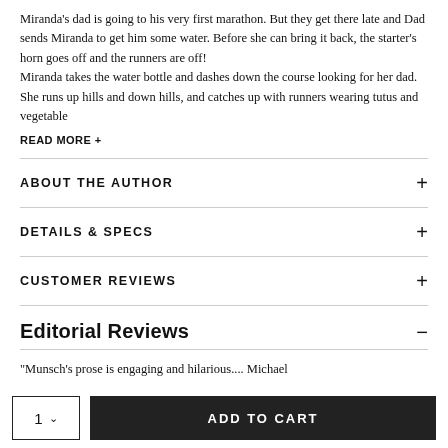Miranda's dad is going to his very first marathon. But they get there late and Dad sends Miranda to get him some water. Before she can bring it back, the starter's horn goes off and the runners are off!
Miranda takes the water bottle and dashes down the course looking for her dad. She runs up hills and down hills, and catches up with runners wearing tutus and vegetable
READ MORE +
ABOUT THE AUTHOR
DETAILS & SPECS
CUSTOMER REVIEWS
Editorial Reviews
"Munsch's prose is engaging and hilarious.... Michael
1  ∨
ADD TO CART